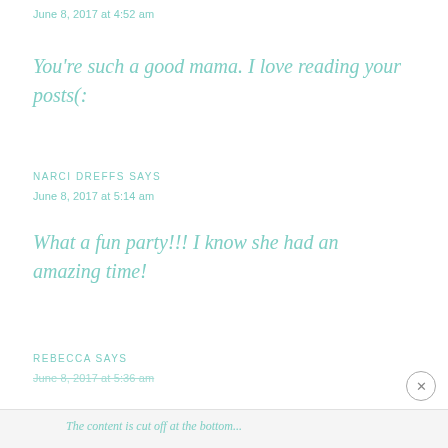June 8, 2017 at 4:52 am
You're such a good mama. I love reading your posts(:
NARCI DREFFS SAYS
June 8, 2017 at 5:14 am
What a fun party!!! I know she had an amazing time!
REBECCA SAYS
June 8, 2017 at 5:36 am
The content is cut off at the bottom of the page